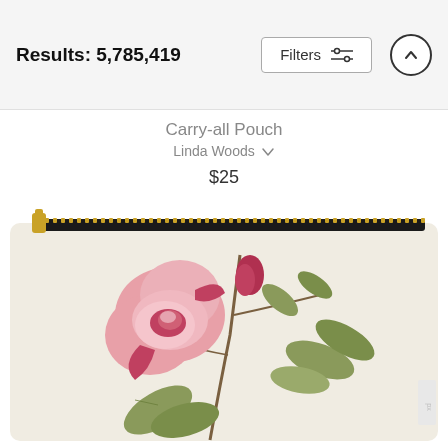Results: 5,785,419
Filters
Carry-all Pouch
Linda Woods
$25
[Figure (photo): A carry-all pouch/cosmetic bag with a botanical illustration of a pink rose with green leaves on a cream background, featuring a gold zipper along the top and a black zipper tape.]